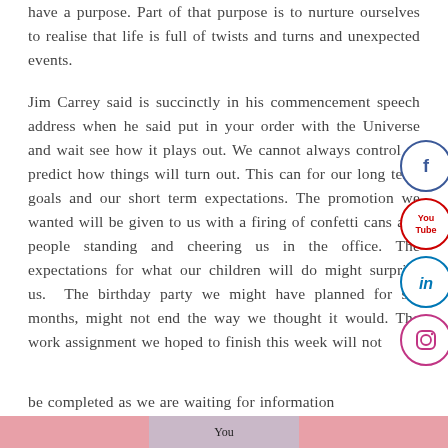have a purpose. Part of that purpose is to nurture ourselves to realise that life is full of twists and turns and unexpected events.
Jim Carrey said is succinctly in his commencement speech address when he said put in your order with the Universe and wait see how it plays out. We cannot always control or predict how things will turn out. This can for our long term goals and our short term expectations. The promotion we wanted will be given to us with a firing of confetti cans and people standing and cheering us in the office. The expectations for what our children will do might surprise us. The birthday party we might have planned for six months, might not end the way we thought it would. The work assignment we hoped to finish this week will not be completed as we are waiting for information